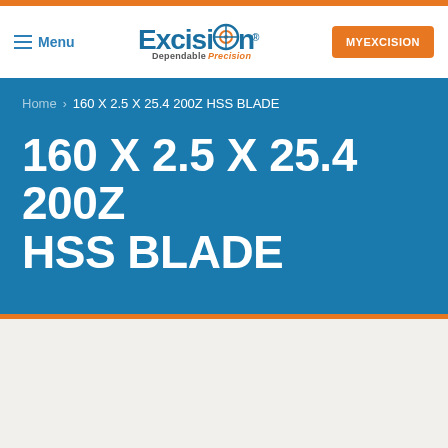Menu | Excision — Dependable Precision | MYEXCISION
Home > 160 X 2.5 X 25.4 200Z HSS BLADE
160 X 2.5 X 25.4 200Z HSS BLADE